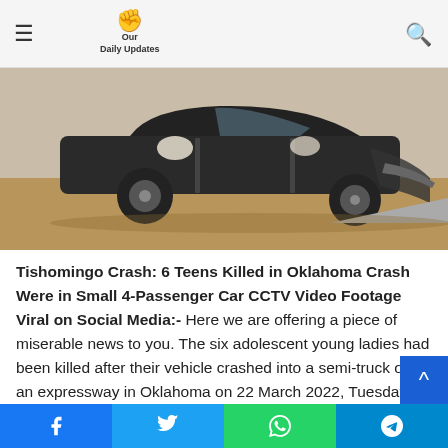Our Daily Updates
[Figure (photo): A heavily damaged dark-colored car with doors open, shown from the side after a crash, on a dirt/sandy surface. Debris visible.]
Tishomingo Crash: 6 Teens Killed in Oklahoma Crash Were in Small 4-Passenger Car CCTV Video Footage Viral on Social Media:- Here we are offering a piece of miserable news to you. The six adolescent young ladies had been killed after their vehicle crashed into a semi-truck on an expressway in Oklahoma on 22 March 2022, Tuesday. The casualties had been perceived as Gracie Machado, Brooklyn Triplett, Austin Holt, Madison Robertson, Addison Gratz, and memory Wils while the young ladies had been killed by the gathering of